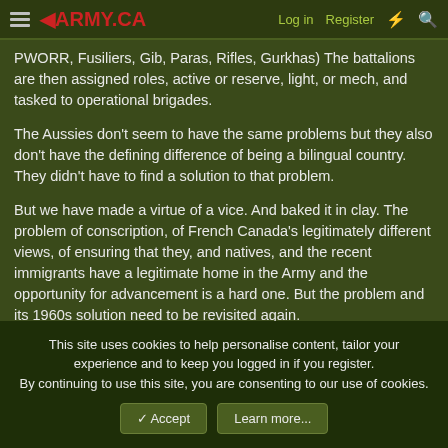4ARMY.CA | Log in | Register
PWORR, Fusiliers, Gib, Paras, Rifles, Gurkhas) The battalions are then assigned roles, active or reserve, light, or mech, and tasked to operational brigades.
The Aussies don't seem to have the same problems but they also don't have the defining difference of being a bilingual country. They didn't have to find a solution to that problem.
But we have made a virtue of a vice. And baked it in clay. The problem of conscription, of French Canada's legitimately different views, of ensuring that they, and natives, and the recent immigrants have a legitimate home in the Army and the opportunity for advancement is a hard one. But the problem and its 1960s solution need to be revisited again.
This site uses cookies to help personalise content, tailor your experience and to keep you logged in if you register.
By continuing to use this site, you are consenting to our use of cookies.